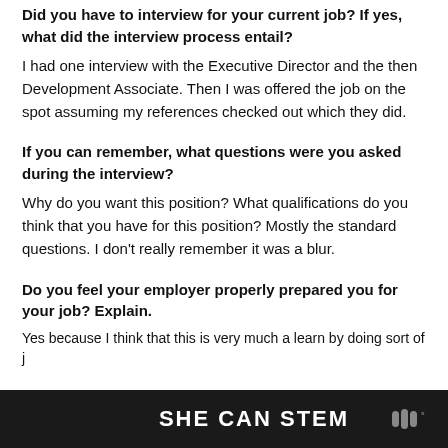Did you have to interview for your current job? If yes, what did the interview process entail?
I had one interview with the Executive Director and the then Development Associate. Then I was offered the job on the spot assuming my references checked out which they did.
If you can remember, what questions were you asked during the interview?
Why do you want this position? What qualifications do you think that you have for this position? Mostly the standard questions. I don't really remember it was a blur.
Do you feel your employer properly prepared you for your job? Explain.
Yes because I think that this is very much a learn by doing sort of j
SHE CAN STEM